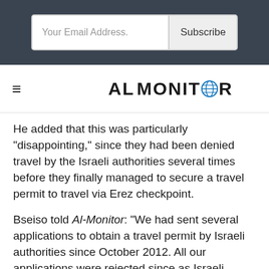[Figure (screenshot): Email subscription bar with 'Your Email Address.' input and 'Subscribe' button on dark background]
[Figure (logo): Al-Monitor logo with globe icon, nav bar with hamburger menu]
He added that this was particularly "disappointing," since they had been denied travel by the Israeli authorities several times before they finally managed to secure a travel permit to travel via Erez checkpoint.
Bseiso told Al-Monitor: "We had sent several applications to obtain a travel permit by Israeli authorities since October 2012. All our applications were rejected since as Israeli authorities said there was a travel ban on all lawyers. ... When we finally secured the travel